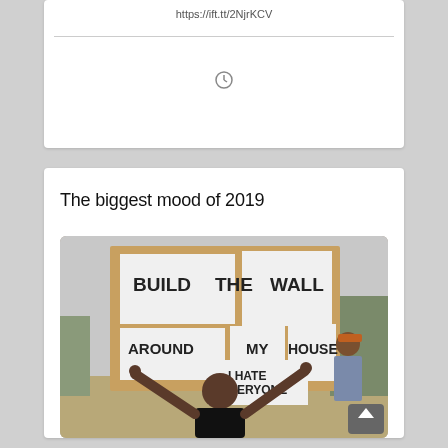https://ift.tt/2NjrKCV
[Figure (photo): A man holding a large cardboard sign with paper sheets reading: BUILD THE WALL AROUND MY HOUSE I HATE EVERYONE. Another man stands behind him outdoors.]
The biggest mood of 2019